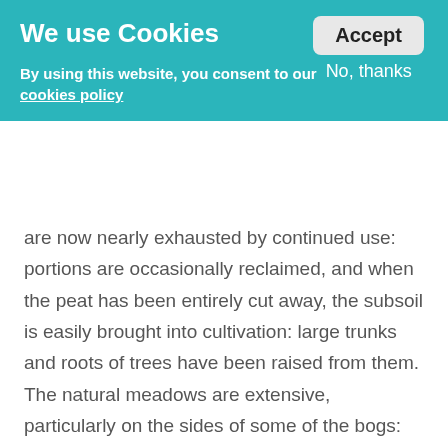We use Cookies
Accept
No, thanks
By using this website, you consent to our cookies policy
are now nearly exhausted by continued use: portions are occasionally reclaimed, and when the peat has been entirely cut away, the subsoil is easily brought into cultivation: large trunks and roots of trees have been raised from them. The natural meadows are extensive, particularly on the sides of some of the bogs: the mountain pasture is generally poor.
Wheat, which formerly was considered unsuitable to the climate and soil, is now in much estimation: green crops are occasionally adopted. Forced or sown meadows are by no means general; when prepared